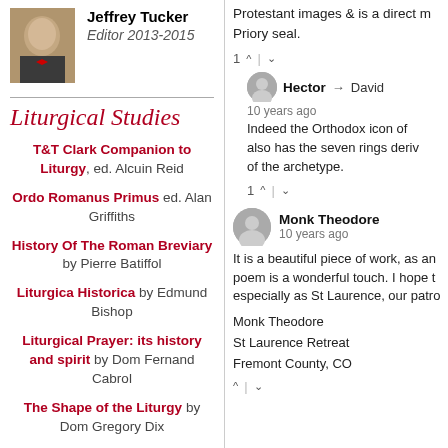[Figure (photo): Photo of Jeffrey Tucker, a man in a suit with a bow tie]
Jeffrey Tucker
Editor 2013-2015
Liturgical Studies
T&T Clark Companion to Liturgy, ed. Alcuin Reid
Ordo Romanus Primus ed. Alan Griffiths
History Of The Roman Breviary by Pierre Batiffol
Liturgica Historica by Edmund Bishop
Liturgical Prayer: its history and spirit by Dom Fernand Cabrol
The Shape of the Liturgy by Dom Gregory Dix
Protestant images & is a direct m... Priory seal.
1 ^ | v
Hector → David
10 years ago
Indeed the Orthodox icon of... also has the seven rings deriv... of the archetype.
1 ^ | v
Monk Theodore
10 years ago
It is a beautiful piece of work, as an... poem is a wonderful touch. I hope t... especially as St Laurence, our patro...
Monk Theodore
St Laurence Retreat
Fremont County, CO
^ | v